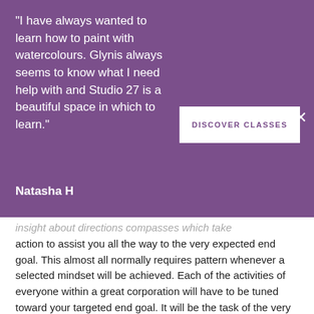"I have always wanted to learn how to paint with watercolours. Glynis always seems to know what I need help with and Studio 27 is a beautiful space in which to learn."
Natasha H
DISCOVER CLASSES
insight about directions compasses which take action to assist you all the way to the very expected end goal. This almost all normally requires pattern whenever a selected mindset will be achieved. Each of the activities of everyone within a great corporation will have to be tuned toward your targeted end goal. It will be the task of the very management within charge that